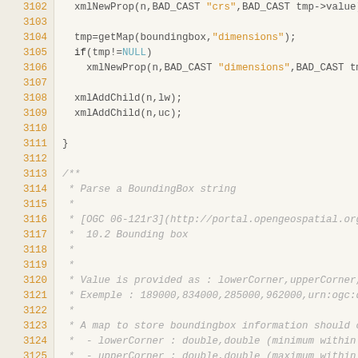Source code viewer showing lines 3102-3129 of C code with XML bounding box parsing function and comment block
3102: xmlNewProp(n,BAD_CAST "crs",BAD_CAST tmp->value));
3103: (blank)
3104:   tmp=getMap(boundingbox,"dimensions");
3105:   if(tmp!=NULL)
3106:     xmlNewProp(n,BAD_CAST "dimensions",BAD_CAST tmp->va...
3107: (blank)
3108:   xmlAddChild(n,lw);
3109:   xmlAddChild(n,uc);
3110: (blank)
3111: }
3112: (blank)
3113: /**
3114:  * Parse a BoundingBox string
3115:  *
3116:  * [OGC 06-121r3](http://portal.opengeospatial.org/file...
3117:  *  10.2 Bounding box
3118:  *
3119:  *
3120:  * Value is provided as : lowerCorner,upperCorner,crs,d...
3121:  * Exemple : 189000,834000,285000,962000,urn:ogc:def:cr...
3122:  *
3123:  * A map to store boundingbox information should contai...
3124:  *  - lowerCorner : double,double (minimum within this ...
3125:  *  - upperCorner : double,double (maximum within this ...
3126:  *  - crs : URI (Reference to definition of the CRS)
3127:  *  - dimensions : int
3128:  *
3129:  * Note : support only 2D bounding box...